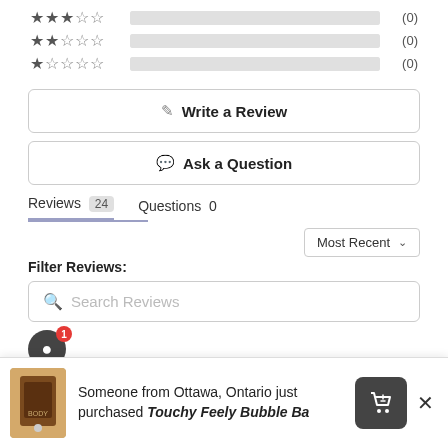[Figure (other): Star rating rows: 3-star (0), 2-star (0), 1-star (0) with progress bars]
Write a Review
Ask a Question
Reviews 24   Questions 0
Filter Reviews:
Most Recent
Search Reviews
[Figure (other): User avatar circle with red badge showing '1']
Someone from Ottawa, Ontario just purchased Touchy Feely Bubble Ba